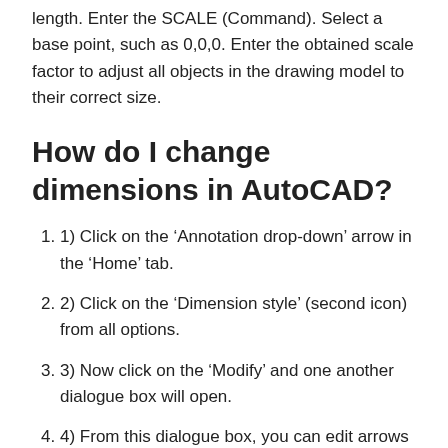length. Enter the SCALE (Command). Select a base point, such as 0,0,0. Enter the obtained scale factor to adjust all objects in the drawing model to their correct size.
How do I change dimensions in AutoCAD?
1) Click on the ‘Annotation drop-down’ arrow in the ‘Home’ tab.
2) Click on the ‘Dimension style’ (second icon) from all options.
3) Now click on the ‘Modify’ and one another dialogue box will open.
4) From this dialogue box, you can edit arrows & symbols, text, lines, units, etc.